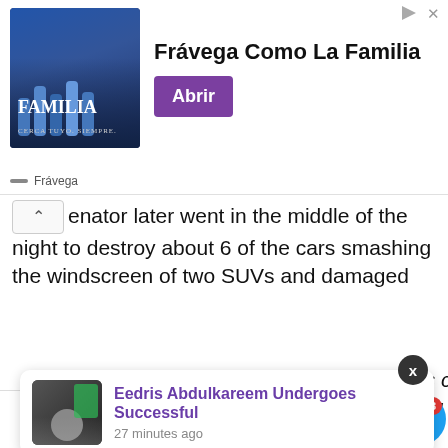[Figure (screenshot): Advertisement banner for Frávega showing 'Frávega Como La Familia' with a group photo and purple 'Abrir' button]
enator later went in the middle of the night to destroy about 6 of the cars smashing the windscreen of two SUVs and damaged them badly.
The distraught mother of two kids identified as Violet Kenneth Isele said:
My name is violet Kenneth isele, from Rivers state, Okrika, I reside in port Harcourt, mother of two, a
is cars was
r, I rented
[Figure (screenshot): Notification popup: Eedris Abdulkareem Undergoes Successful - 27 minutes ago]
61 Shares | Facebook | Twitter | WhatsApp | Messenger | Bell notification (3)